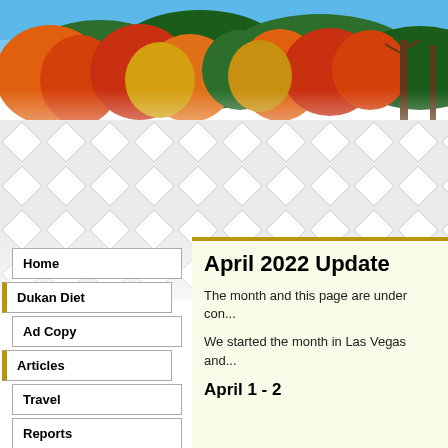[Figure (photo): Autumn forest scene with colorful fall foliage trees in orange, red, yellow and green, with blue sky visible at top, fading to white at bottom]
[Figure (illustration): Diamond lattice / tile pattern in light gray and white forming a decorative background]
Home
Dukan Diet
Ad Copy
Articles
Travel
Reports
Books
Updates
April 2022 Update
The month and this page are under con...
We started the month in Las Vegas and...
April 1 - 2